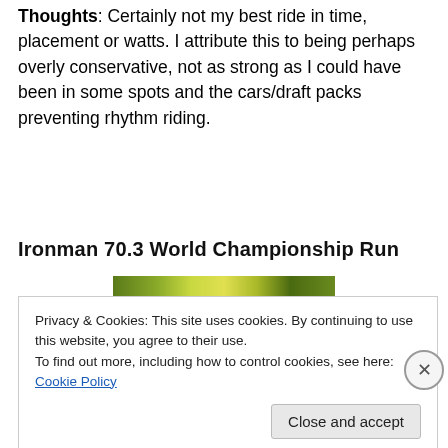Thoughts: Certainly not my best ride in time, placement or watts. I attribute this to being perhaps overly conservative, not as strong as I could have been in some spots and the cars/draft packs preventing rhythm riding.
Ironman 70.3 World Championship Run
[Figure (photo): Partial photo strip visible at the top of an outdoor racing image with green/yellow tones]
Privacy & Cookies: This site uses cookies. By continuing to use this website, you agree to their use.
To find out more, including how to control cookies, see here: Cookie Policy